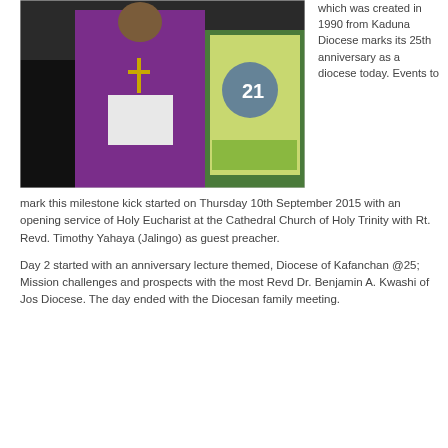[Figure (photo): Two people standing outdoors, one wearing a purple clergy robe holding a book, another partially visible in colorful attire]
which was created in 1990 from Kaduna Diocese marks its 25th anniversary as a diocese today. Events to mark this milestone kick started on Thursday 10th September 2015 with an opening service of Holy Eucharist at the Cathedral Church of Holy Trinity with Rt. Revd. Timothy Yahaya (Jalingo) as guest preacher.
Day 2 started with an anniversary lecture themed, Diocese of Kafanchan @25; Mission challenges and prospects with the most Revd Dr. Benjamin A. Kwashi of Jos Diocese. The day ended with the Diocesan family meeting.